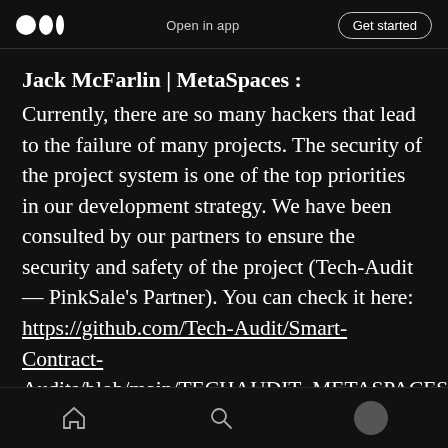Open in app | Get started
Jack McFarlin | MetaSpaces :
Currently, there are so many hackers that lead to the failure of many projects. The security of the project system is one of the top priorities in our development strategy. We have been consulted by our partners to ensure the security and safety of the project (Tech-Audit — PinkSale's Partner). You can check it here: https://github.com/Tech-Audit/Smart-Contract-Audits/blob/main/TECHAUDIT_METASPACES%20.pdf. We are confident to be one of the safest
Home | Search | Profile